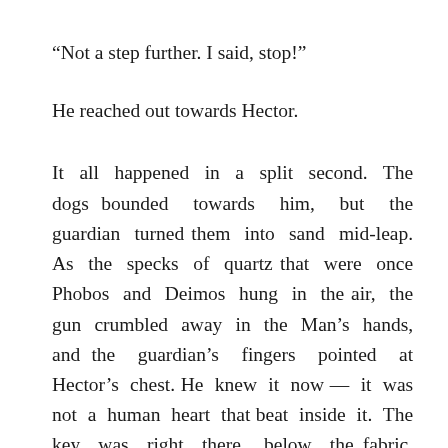“Not a step further. I said, stop!”
He reached out towards Hector.
It all happened in a split second. The dogs bounded towards him, but the guardian turned them into sand mid-leap. As the specks of quartz that were once Phobos and Deimos hung in the air, the gun crumbled away in the Man’s hands, and the guardian’s fingers pointed at Hector’s chest. He knew it now — it was not a human heart that beat inside it. The key was right there, below the fabric, below the skin, under the tissue and the